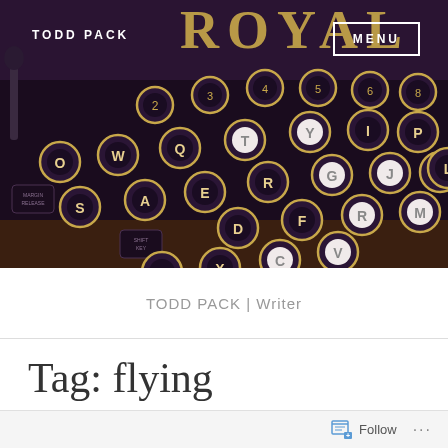[Figure (photo): Close-up photo of a vintage Royal typewriter keyboard with circular keys showing letters and numbers, dark purple/maroon tones]
TODD PACK
MENU
TODD PACK | Writer
Tag: flying
Follow ...